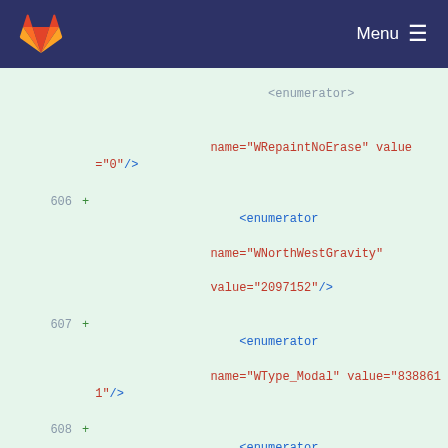GitLab Menu
[Figure (screenshot): GitLab code diff view showing XML enumerator additions (lines 606-614) with line numbers and +/- markers on a light green background]
name="WRepaintNoErase" value="0"/>
606 + <enumerator name="WNorthWestGravity" value="2097152"/>
607 + <enumerator name="WType_Modal" value="8388611"/>
608 + <enumerator name="WStyle_Dialog" value="3"/>
609 + <enumerator name="WStyle_NoBorderEx" value="2048"/>
610 + <enumerator name="WResizeNoErase" value="0"/>
611 + <enumerator name="WMacNoSheet" value="0"/>
527  612     </enum>
528  613     <enum name="WindowState">
529  614         <enumerator name="WindowNoState" value="0"/>
... ... @@ -1268,6 +1353,28 @@